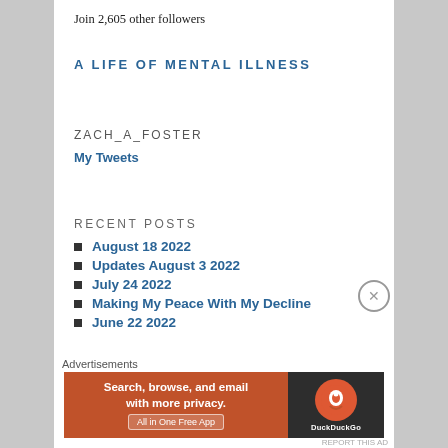Join 2,605 other followers
A LIFE OF MENTAL ILLNESS
ZACH_A_FOSTER
My Tweets
RECENT POSTS
August 18 2022
Updates August 3 2022
July 24 2022
Making My Peace With My Decline
June 22 2022
Advertisements
[Figure (other): DuckDuckGo advertisement banner: orange background with text 'Search, browse, and email with more privacy. All in One Free App' and DuckDuckGo logo on dark background]